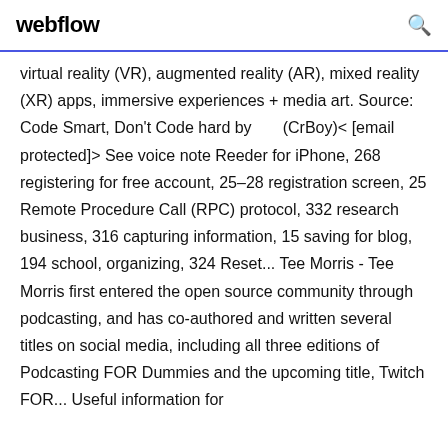webflow
virtual reality (VR), augmented reality (AR), mixed reality (XR) apps, immersive experiences + media art. Source: Code Smart, Don't Code hard by      (CrBoy)< [email protected]> See voice note Reeder for iPhone, 268 registering for free account, 25–28 registration screen, 25 Remote Procedure Call (RPC) protocol, 332 research business, 316 capturing information, 15 saving for blog, 194 school, organizing, 324 Reset... Tee Morris - Tee Morris first entered the open source community through podcasting, and has co-authored and written several titles on social media, including all three editions of Podcasting FOR Dummies and the upcoming title, Twitch FOR... Useful information for